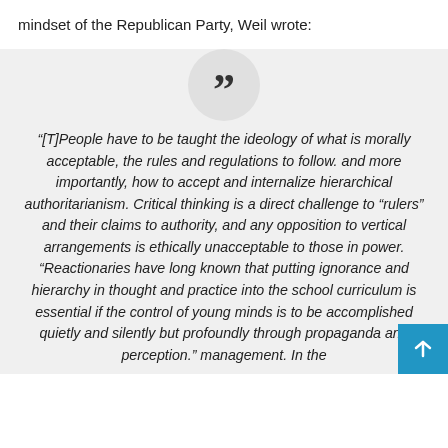mindset of the Republican Party, Weil wrote:
“[T]People have to be taught the ideology of what is morally acceptable, the rules and regulations to follow. and more importantly, how to accept and internalize hierarchical authoritarianism. Critical thinking is a direct challenge to “rulers” and their claims to authority, and any opposition to vertical arrangements is ethically unacceptable to those in power. “Reactionaries have long known that putting ignorance and hierarchy in thought and practice into the school curriculum is essential if the control of young minds is to be accomplished quietly and silently but profoundly through propaganda and perception.” management. In the districts of obedience training, “education” has